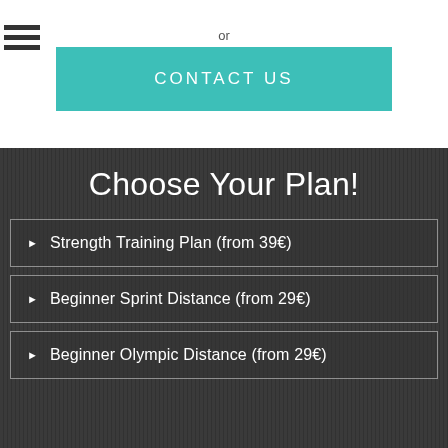[Figure (illustration): Partial hamburger menu icon visible at top-left corner]
or
CONTACT US
Choose Your Plan!
Strength Training Plan (from 39€)
Beginner Sprint Distance (from 29€)
Beginner Olympic Distance (from 29€)